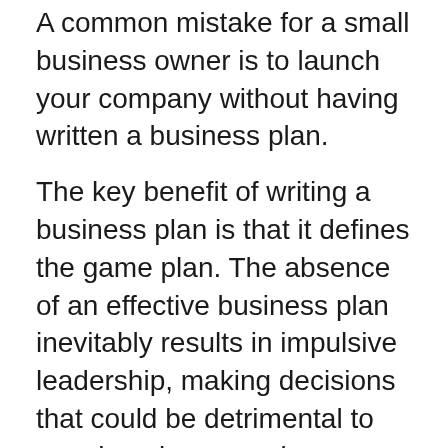A common mistake for a small business owner is to launch your company without having written a business plan.
The key benefit of writing a business plan is that it defines the game plan. The absence of an effective business plan inevitably results in impulsive leadership, making decisions that could be detrimental to your housing agencies business's values and long-term goals.
Start by defining your business mission. The process of writing a mission statement doesn't have to be complicated. From there, it's time to initiate the hard work involved with writing the rest of your housing agencies